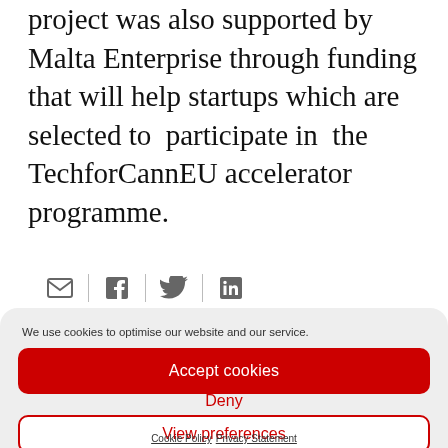project was also supported by Malta Enterprise through funding that will help startups which are selected to participate in the TechforCannEU accelerator programme.
[Figure (other): Social sharing icons row: email, Facebook, Twitter, LinkedIn separated by vertical dividers]
We use cookies to optimise our website and our service.
Accept cookies
Deny
View preferences
Cookie Policy  Privacy Statement